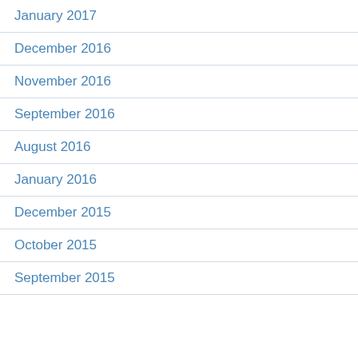January 2017
December 2016
November 2016
September 2016
August 2016
January 2016
December 2015
October 2015
September 2015